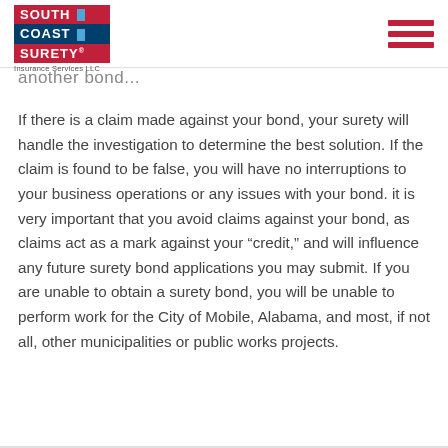South Coast Surety Insurance Services LLC — navigation header
another bond...
If there is a claim made against your bond, your surety will handle the investigation to determine the best solution. If the claim is found to be false, you will have no interruptions to your business operations or any issues with your bond. it is very important that you avoid claims against your bond, as claims act as a mark against your "credit," and will influence any future surety bond applications you may submit. If you are unable to obtain a surety bond, you will be unable to perform work for the City of Mobile, Alabama, and most, if not all, other municipalities or public works projects.